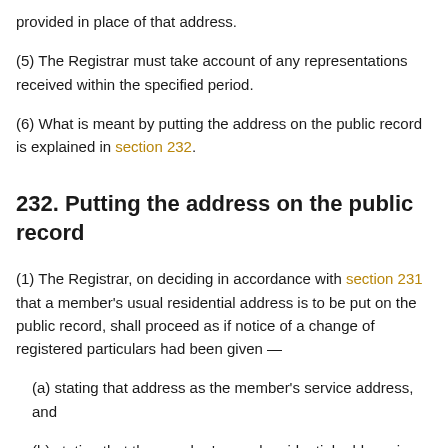provided in place of that address.
(5) The Registrar must take account of any representations received within the specified period.
(6) What is meant by putting the address on the public record is explained in section 232.
232. Putting the address on the public record
(1) The Registrar, on deciding in accordance with section 231 that a member's usual residential address is to be put on the public record, shall proceed as if notice of a change of registered particulars had been given —
(a) stating that address as the member's service address, and
(b) stating that the member's usual residential address is the same as his service address.
(2) The Registrar must give notice of having done so —